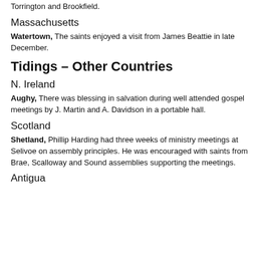Torrington and Brookfield.
Massachusetts
Watertown, The saints enjoyed a visit from James Beattie in late December.
Tidings – Other Countries
N. Ireland
Aughy, There was blessing in salvation during well attended gospel meetings by J. Martin and A. Davidson in a portable hall.
Scotland
Shetland, Phillip Harding had three weeks of ministry meetings at Selivoe on assembly principles. He was encouraged with saints from Brae, Scalloway and Sound assemblies supporting the meetings.
Antigua